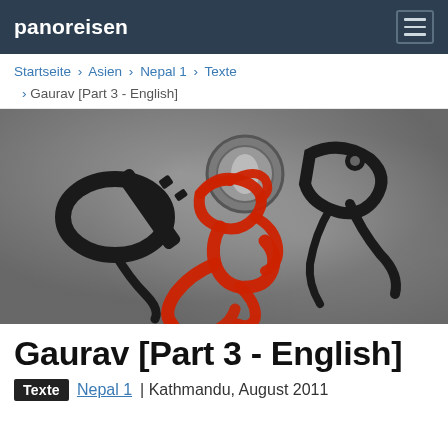panoreisen
Startseite › Asien › Nepal 1 › Texte › Gaurav [Part 3 - English]
[Figure (photo): Black and white close-up photograph of metal keys/locks with a stylized red Om/Aum symbol drawn in red on top]
Gaurav [Part 3 - English]
Texte | Nepal 1 | Kathmandu, August 2011